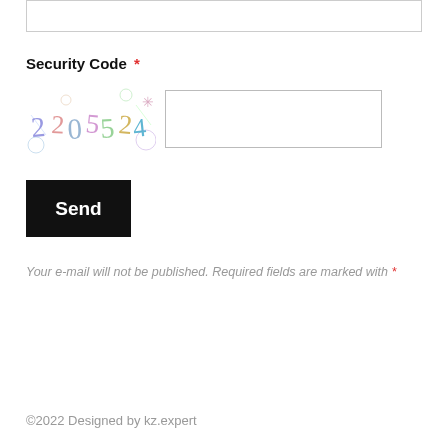[Figure (screenshot): Empty textarea input box at top of page]
Security Code *
[Figure (other): CAPTCHA image showing distorted text '2205524' with colorful decorative elements]
[Figure (screenshot): Empty text input field for entering security code]
Send
Your e-mail will not be published. Required fields are marked with *
©2022 Designed by kz.expert